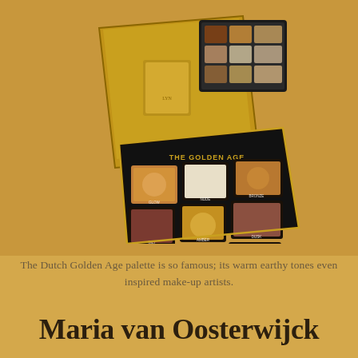[Figure (photo): Open makeup eyeshadow palette called 'The Golden Age' with 9 warm earthy toned shades arranged in a 3x3 grid, displayed open on a golden-yellow background. The palette has a black and gold case with a mirror inside the lid.]
The Dutch Golden Age palette is so famous; its warm earthy tones even inspired make-up artists.
Maria van Oosterwijck